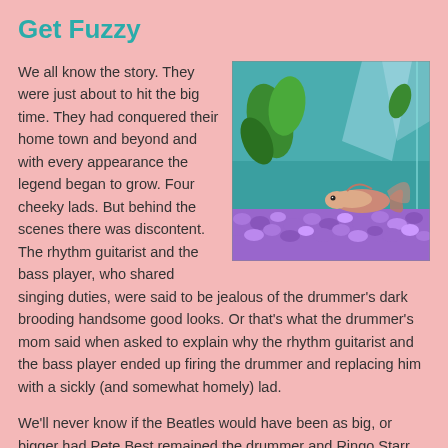Get Fuzzy
[Figure (photo): A betta fish in an aquarium with purple gravel and green aquatic plants, viewed through glass with a teal/green background.]
We all know the story. They were just about to hit the big time. They had conquered their home town and beyond and with every appearance the legend began to grow. Four cheeky lads. But behind the scenes there was discontent. The rhythm guitarist and the bass player, who shared singing duties, were said to be jealous of the drummer's dark brooding handsome good looks. Or that's what the drummer's mom said when asked to explain why the rhythm guitarist and the bass player ended up firing the drummer and replacing him with a sickly (and somewhat homely) lad.
We'll never know if the Beatles would have been as big, or bigger had Pete Best remained the drummer and Ringo Starr